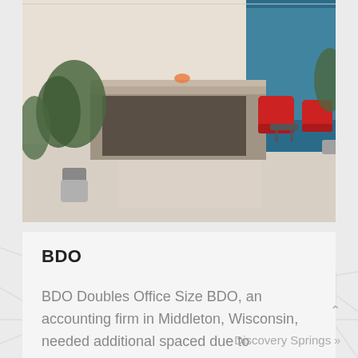[Figure (photo): Interior photo of a modern office reception area with a large desk, potted plants, and red accent chairs against a blue wall]
BDO
BDO Doubles Office Size BDO, an accounting firm in Middleton, Wisconsin, needed additional spaced due to expansion and leased square...
Discovery Springs »